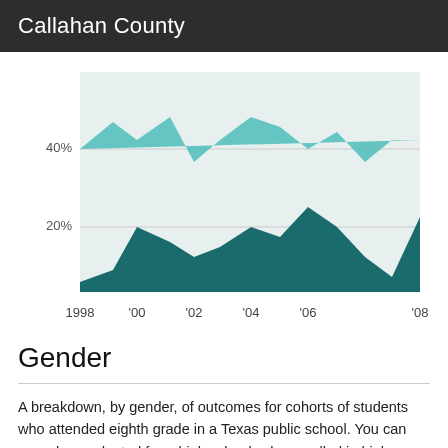Callahan County
[Figure (area-chart): Stacked area chart showing outcomes by year from 1998 to 2008, with two overlapping area series in dark teal and lighter teal, y-axis showing 20% and 40% gridlines, x-axis labels: 1998, '00, '02, '04, '06, '08]
Gender
A breakdown, by gender, of outcomes for cohorts of students who attended eighth grade in a Texas public school. You can see who graduated from high school, who enrolled in higher education and who completed a certificate or degree.
Outcome of 8th grade class by gender, 2008